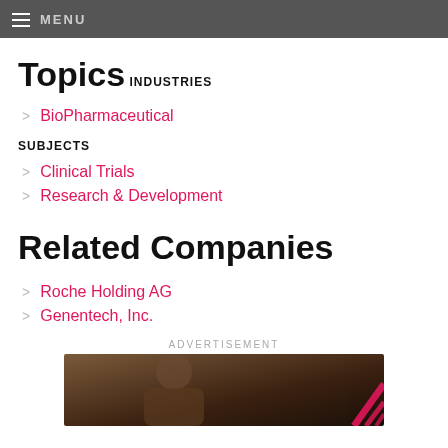MENU
Topics
INDUSTRIES
BioPharmaceutical
SUBJECTS
Clinical Trials
Research & Development
Related Companies
Roche Holding AG
Genentech, Inc.
ADVERTISEMENT
[Figure (photo): Advertisement image showing a person, partially visible, with pink graphic lines overlay]